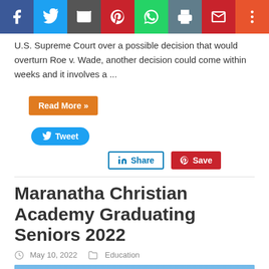[Figure (infographic): Social media sharing toolbar with icons for Facebook, Twitter, Email, Pinterest, WhatsApp, Print, Gmail, and More]
U.S. Supreme Court over a possible decision that would overturn Roe v. Wade, another decision could come within weeks and it involves a ...
Read More »
Tweet
Share
Save
Maranatha Christian Academy Graduating Seniors 2022
May 10, 2022   Education
[Figure (photo): Graduation caps being tossed in the air against a blue sky]